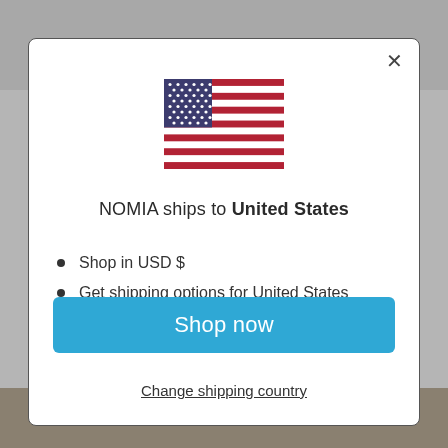[Figure (illustration): US flag SVG illustration centered in modal]
NOMIA ships to United States
Shop in USD $
Get shipping options for United States
Shop now
Change shipping country